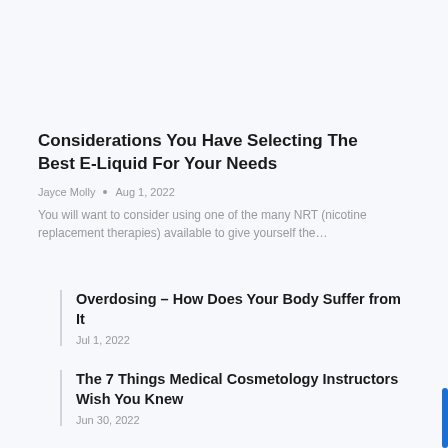Considerations You Have Selecting The Best E-Liquid For Your Needs
Jayce Molly  •  Aug 1, 2022
You will want to consider using one of the many NRT (nicotine replacement therapies) available to give yourself the…
Overdosing – How Does Your Body Suffer from It
Jul 1, 2022
The 7 Things Medical Cosmetology Instructors Wish You Knew
Jun 30, 2022